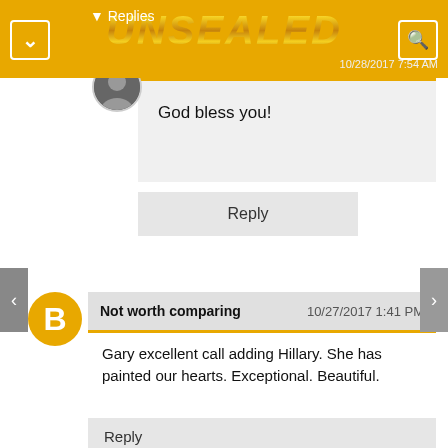UNSEALED
Replies
Hillary   10/28/2017 7:54 AM
God bless you!
Reply
Not worth comparing   10/27/2017 1:41 PM
Gary excellent call adding Hillary. She has painted our hearts. Exceptional. Beautiful.
Reply
Replies
Hillary   10/28/2017 7:54 AM